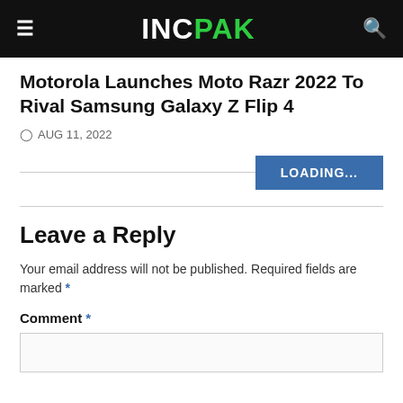INC PAK
Motorola Launches Moto Razr 2022 To Rival Samsung Galaxy Z Flip 4
AUG 11, 2022
[Figure (other): LOADING... button with horizontal divider line on the left]
Leave a Reply
Your email address will not be published. Required fields are marked *
Comment *
[Figure (other): Empty comment text area input box]